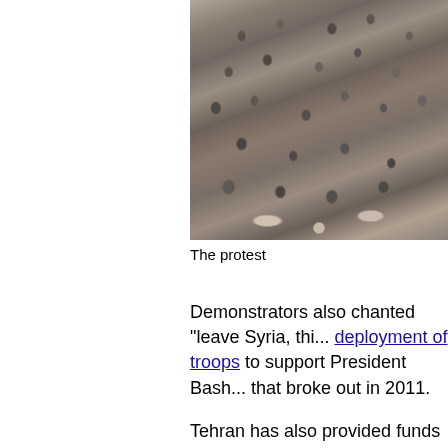[Figure (photo): A large crowd of protesters, black and white or desaturated image showing a dense mass of people]
The protest
Demonstrators also chanted "leave Syria, thi... deployment of troops to support President Bash... that broke out in 2011.
Tehran has also provided funds to prop up Sy...
Iran's Supreme Leader Ayatollah Ali Khamen... the government's economic record, said on W... struggling with "high prices, inflation and rece... resolve the problems with determination.